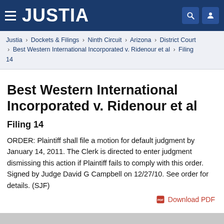JUSTIA
Justia › Dockets & Filings › Ninth Circuit › Arizona › District Court › Best Western International Incorporated v. Ridenour et al › Filing 14
Best Western International Incorporated v. Ridenour et al
Filing 14
ORDER: Plaintiff shall file a motion for default judgment by January 14, 2011. The Clerk is directed to enter judgment dismissing this action if Plaintiff fails to comply with this order. Signed by Judge David G Campbell on 12/27/10. See order for details. (SJF)
Download PDF